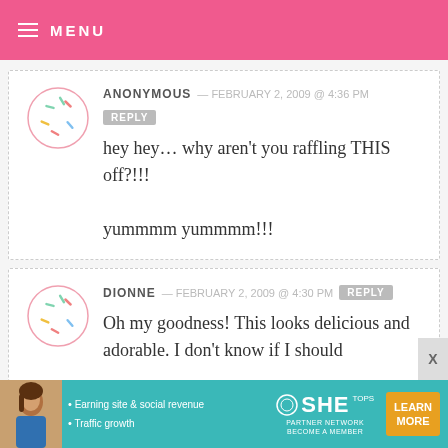MENU
ANONYMOUS — FEBRUARY 2, 2009 @ 4:36 PM
REPLY
hey hey... why aren't you raffling THIS off?!!!
yummmm yummmm!!!
DIONNE — FEBRUARY 2, 2009 @ 4:30 PM
REPLY
Oh my goodness! This looks delicious and adorable. I don't know if I should
[Figure (infographic): SHE Partner Network advertisement banner with woman photo, bullet points about earning site & social revenue and traffic growth, SHE logo, and LEARN MORE button]